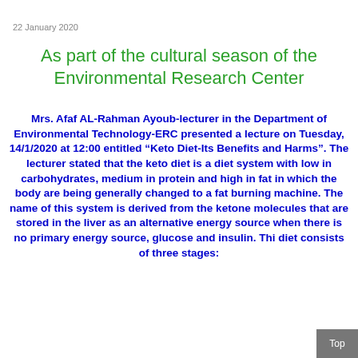22 January 2020
As part of the cultural season of the Environmental Research Center
Mrs. Afaf AL-Rahman Ayoub-lecturer in the Department of Environmental Technology-ERC presented a lecture on Tuesday, 14/1/2020 at 12:00 entitled “Keto Diet-Its Benefits and Harms”. The lecturer stated that the keto diet is a diet system with low in carbohydrates, medium in protein and high in fat in which the body are being generally changed to a fat burning machine. The name of this system is derived from the ketone molecules that are stored in the liver as an alternative energy source when there is no primary energy source, glucose and insulin. This diet consists of three stages: